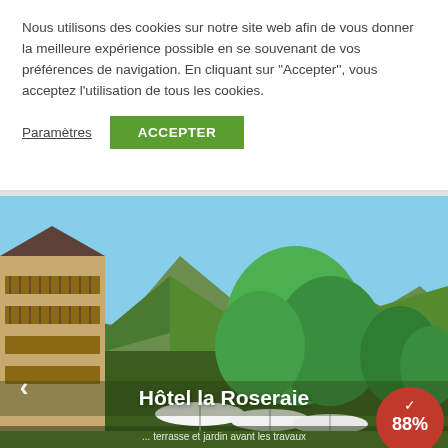Nous utilisons des cookies sur notre site web afin de vous donner la meilleure expérience possible en se souvenant de vos préférences de navigation. En cliquant sur ''Accepter'', vous acceptez l'utilisation de tous les cookies.
Paramètres | ACCEPTER
[Figure (photo): Outdoor photo of Hôtel la Roseraie showing alpine building with wooden balconies on the left, large green trees in center and right, mountains and blue sky in background, white parasols and terrace furniture in foreground. Overlaid text: 'Hôtel la Roseraie' and a caption about terrace and garden. A left navigation arrow and a red circular badge showing 88% with a checkmark are visible.]